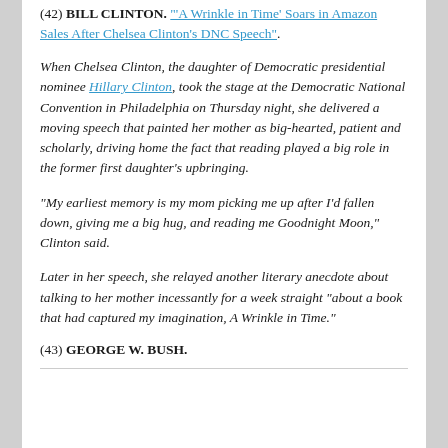(42) BILL CLINTON. "'A Wrinkle in Time' Soars in Amazon Sales After Chelsea Clinton's DNC Speech".
When Chelsea Clinton, the daughter of Democratic presidential nominee Hillary Clinton, took the stage at the Democratic National Convention in Philadelphia on Thursday night, she delivered a moving speech that painted her mother as big-hearted, patient and scholarly, driving home the fact that reading played a big role in the former first daughter's upbringing.
“My earliest memory is my mom picking me up after I’d fallen down, giving me a big hug, and reading me Goodnight Moon,” Clinton said.
Later in her speech, she relayed another literary anecdote about talking to her mother incessantly for a week straight “about a book that had captured my imagination, A Wrinkle in Time.”
(43) GEORGE W. BUSH.